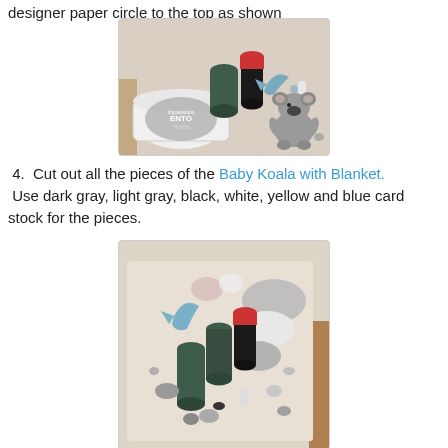designer paper circle to the top as shown
[Figure (photo): Photo showing craft supplies on a beige surface: a white ink pad (Memento London Fog brand), two cylindrical ink applicators (dark green and red-topped), and cut-out paper pieces including a blue bird shape and a gray koala bear shape.]
4.  Cut out all the pieces of the Baby Koala with Blanket. Use dark gray, light gray, black, white, yellow and blue card stock for the pieces.
[Figure (photo): Photo showing craft supplies and cut-out koala pieces laid out on a beige surface, including gray oval shapes, a blue figure, small mixed pieces, and three cylindrical ink applicators.]